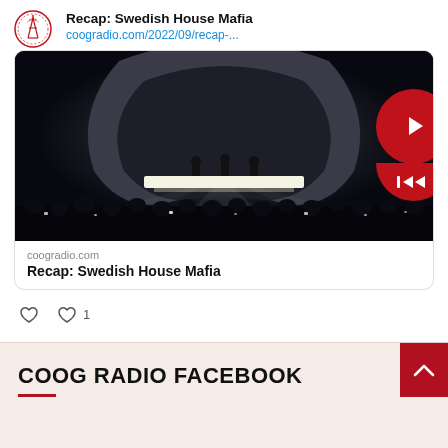[Figure (logo): Coog Radio circular logo with antenna tower]
Recap: Swedish House Mafia
coogradio.com/2022/09/recap-...
[Figure (photo): Concert stage photo showing three DJs behind a lit table under a large crescent moon shaped arch, with crowd silhouettes in foreground]
coogradio.com
Recap: Swedish House Mafia
♡ 1
COOG RADIO FACEBOOK